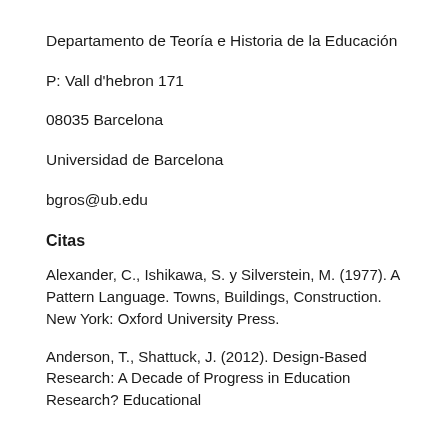Departamento de Teoría e Historia de la Educación
P: Vall d'hebron 171
08035 Barcelona
Universidad de Barcelona
bgros@ub.edu
Citas
Alexander, C., Ishikawa, S. y Silverstein, M. (1977). A Pattern Language. Towns, Buildings, Construction. New York: Oxford University Press.
Anderson, T., Shattuck, J. (2012). Design-Based Research: A Decade of Progress in Education Research? Educational